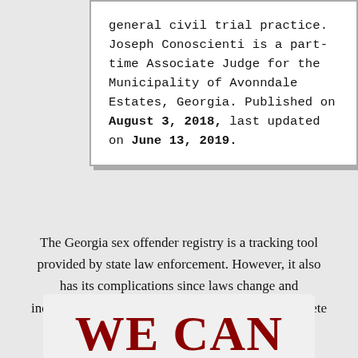general civil trial practice. Joseph Conoscienti is a part-time Associate Judge for the Municipality of Avonndale Estates, Georgia. Published on August 3, 2018, last updated on June 13, 2019.
The Georgia sex offender registry is a tracking tool provided by state law enforcement. However, it also has its complications since laws change and individual circumstances vary. Read on for a complete guide to the registry.
WE CAN